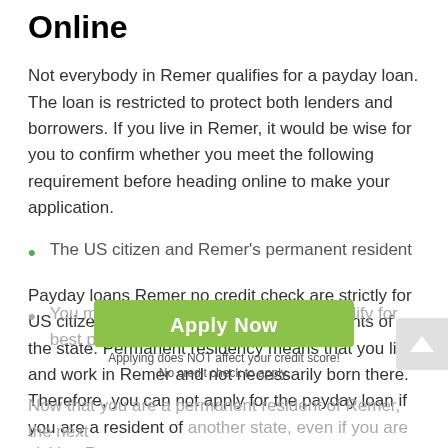Online
Not everybody in Remer qualifies for a payday loan. The loan is restricted to protect both lenders and borrowers. If you live in Remer, it would be wise for you to confirm whether you meet the following requirement before heading online to make your application.
The US citizen and Remer's permanent resident
Payday loans Remer no credit check are strictly for US citizens who are also permanent residents of the state. Permanent residency means that you live and work in Remer and not necessarily born there. Therefore, you can not apply for the payday loan if you are a resident of another state, even if you are visiting Remer.
You must be at least 13 years old to qualify for best payday loans in Remer
Now that you are a permanent resident of Remer, the next